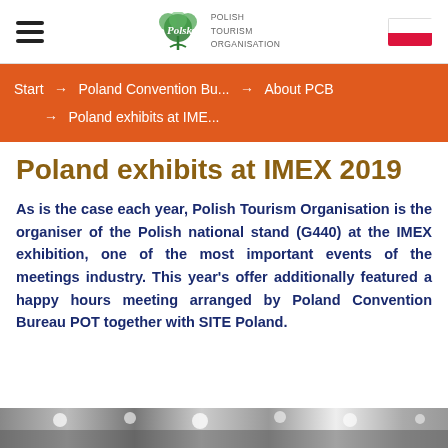Polish Tourism Organisation — logo and navigation header
Start → Poland Convention Bu... → About PCB → Poland exhibits at IME...
Poland exhibits at IMEX 2019
As is the case each year, Polish Tourism Organisation is the organiser of the Polish national stand (G440) at the IMEX exhibition, one of the most important events of the meetings industry. This year's offer additionally featured a happy hours meeting arranged by Poland Convention Bureau POT together with SITE Poland.
[Figure (photo): Bottom strip showing a trade show exhibition hall photo]